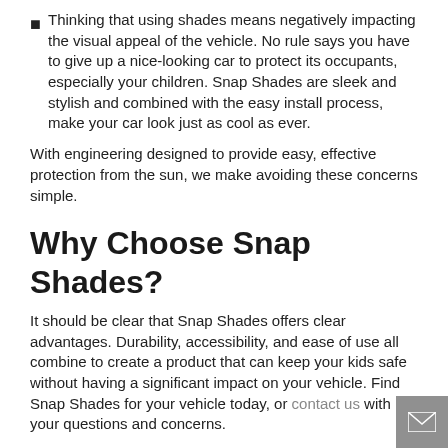Thinking that using shades means negatively impacting the visual appeal of the vehicle. No rule says you have to give up a nice-looking car to protect its occupants, especially your children. Snap Shades are sleek and stylish and combined with the easy install process, make your car look just as cool as ever.
With engineering designed to provide easy, effective protection from the sun, we make avoiding these concerns simple.
Why Choose Snap Shades?
It should be clear that Snap Shades offers clear advantages. Durability, accessibility, and ease of use all combine to create a product that can keep your kids safe without having a significant impact on your vehicle. Find Snap Shades for your vehicle today, or contact us with your questions and concerns.
[Figure (other): Email contact button icon in grey square at bottom right corner]